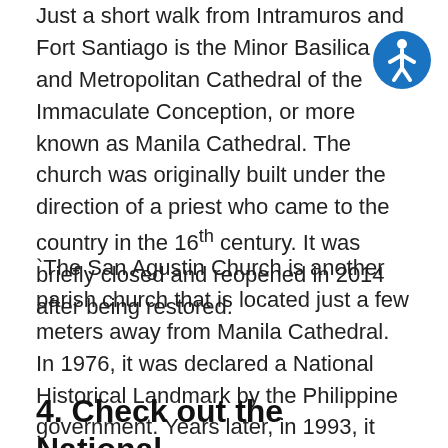Just a short walk from Intramuros and Fort Santiago is the Minor Basilica and Metropolitan Cathedral of the Immaculate Conception, or more known as Manila Cathedral. The church was originally built under the direction of a priest who came to the country in the 16th century. It was briefly closed and reopened in 2014 after being restored.
`The San Agustin Church is another parish church that is located just a few meters away from Manila Cathedral. In 1976, it was declared a National Historical Landmark by the Philippine government. Years later, in 1993, it was declared a World Heritage Site by UNESCO.
4. Check out the National